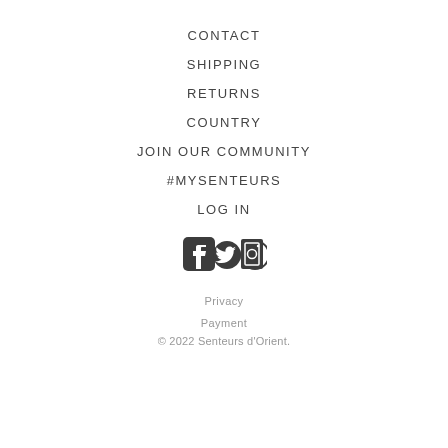CONTACT
SHIPPING
RETURNS
COUNTRY
JOIN OUR COMMUNITY
#MYSENTEURS
LOG IN
[Figure (illustration): Social media icons: Facebook, Twitter, Instagram]
Privacy
Payment
© 2022 Senteurs d'Orient.